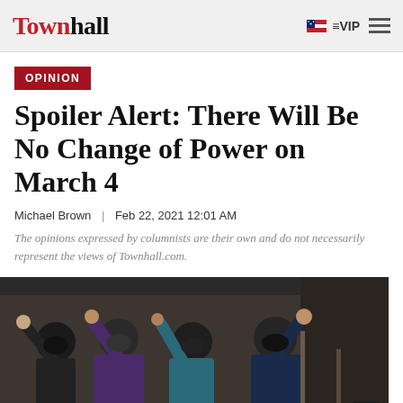Townhall | VIP
OPINION
Spoiler Alert: There Will Be No Change of Power on March 4
Michael Brown | Feb 22, 2021 12:01 AM
The opinions expressed by columnists are their own and do not necessarily represent the views of Townhall.com.
[Figure (photo): Group of four masked people waving, appearing to be at an inauguration event. Includes figures resembling Kamala Harris and Joe Biden in masks and formal attire.]